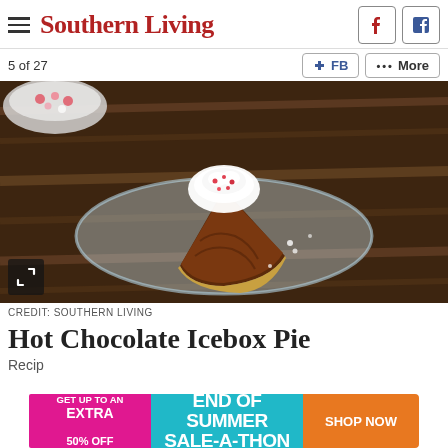Southern Living
5 of 27
[Figure (photo): A slice of Hot Chocolate Icebox Pie on a clear glass plate, topped with whipped cream and crushed peppermint candy, on a wooden table with a bowl of candy in the background.]
CREDIT: SOUTHERN LIVING
Hot Chocolate Icebox Pie
Recip…
[Figure (other): Advertisement banner: GET UP TO AN EXTRA 50% OFF — END OF SUMMER SALE-A-THON — SHOP NOW]